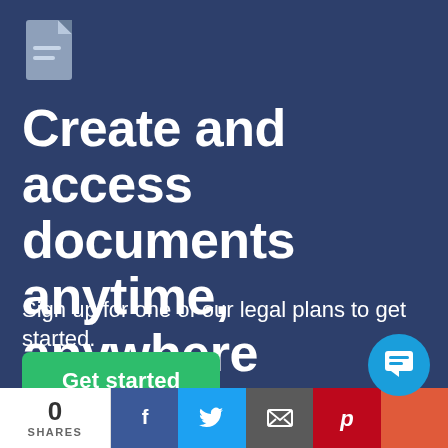[Figure (illustration): Document/file icon in gray-blue tones at top left]
Create and access documents anytime, anywhere
Sign up for one of our legal plans to get started.
Get started
0
SHARES